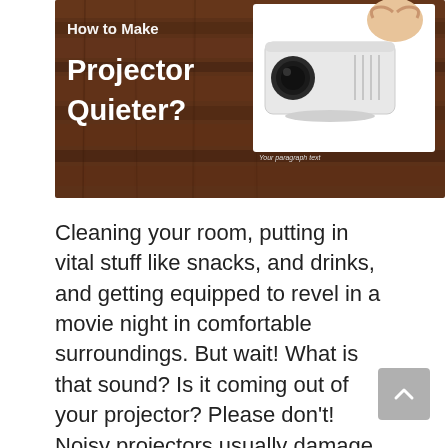[Figure (illustration): Blog post hero image with wood background showing text 'How to Make Projector Quieter?' with a projector image and a person covering their ears]
Cleaning your room, putting in vital stuff like snacks, and drinks, and getting equipped to revel in a movie night in comfortable surroundings. But wait! What is that sound? Is it coming out of your projector? Please don't! Noisy projectors usually damage the quality of movie nights. Not on movie nights but also in meetings … Read more
How To
how to reduce projector fan noise,